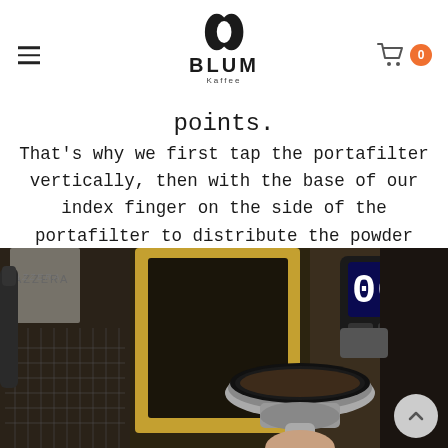BLUM Kaffee — navigation header with logo and cart
points. That's why we first tap the portafilter vertically, then with the base of our index finger on the side of the portafilter to distribute the powder evenly in the sieve.
[Figure (photo): Close-up photo of a portafilter basket being filled with ground coffee under a coffee grinder, showing a La Marzocca-style espresso machine in the background with a digital display reading 065. The scene is warm-toned with gold and dark metallic finishes.]